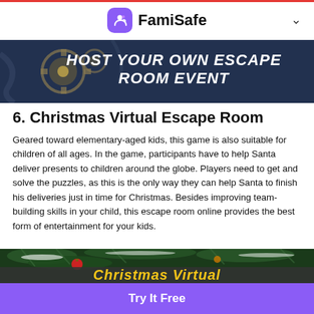FamiSafe
[Figure (illustration): Dark steampunk escape room banner with text 'HOST YOUR OWN ESCAPE ROOM EVENT' in white bold italic letters]
6. Christmas Virtual Escape Room
Geared toward elementary-aged kids, this game is also suitable for children of all ages. In the game, participants have to help Santa deliver presents to children around the globe. Players need to get and solve the puzzles, as this is the only way they can help Santa to finish his deliveries just in time for Christmas. Besides improving team-building skills in your child, this escape room online provides the best form of entertainment for your kids.
[Figure (photo): Christmas virtual escape room promotional image with pine branches covered in snow, red ornament, and gold italic text 'Christmas Virtual' on dark background]
Try It Free